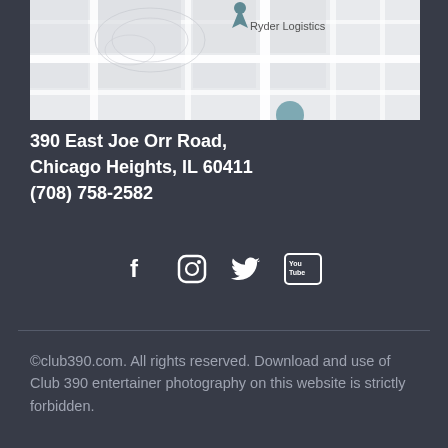[Figure (map): Street map showing location of Ryder Logistics near 390 East Joe Orr Road, Chicago Heights, IL with a teal location pin marker]
390 East Joe Orr Road,
Chicago Heights, IL 60411
(708) 758-2582
[Figure (infographic): Social media icons row: Facebook, Instagram, Twitter, YouTube]
©club390.com. All rights reserved. Download and use of Club 390 entertainer photography on this website is strictly forbidden.